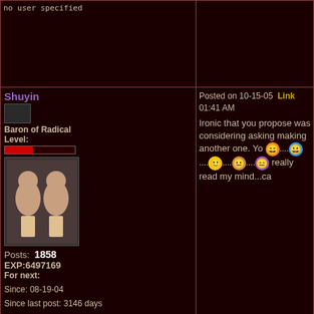no user specified
Shuyin
Baron of Radical
Level:
Posts: 1858
EXP:6497169
For next:
Since: 08-19-04
Since last post: 3146 days
Last activity: 3052 days
no user specified
Posted on 10-15-05 Link 01:41 AM
Ironic that you propose was considering asking making another one. Yo really read my mind...ca
Elara
Divine Mamkute
Dark Elf Goddess
Chain Imp
Pengelin Fan
Ms. Invisable
Level: 179
Posted on 10-15-05 Link 02:19 AM
What categories should time around?